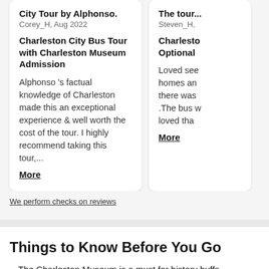City Tour by Alphonso.
Corey_H, Aug 2022
Charleston City Bus Tour with Charleston Museum Admission
Alphonso 's factual knowledge of Charleston made this an exceptional experience & well worth the cost of the tour. I highly recommend taking this tour,...
More
The tour...
Steven_H,
Charleston... Optional
Loved see... homes an... there was... .The bus w... loved tha...
More
We perform checks on reviews
Things to Know Before You Go
The Charleston Museum is a must for history buffs,